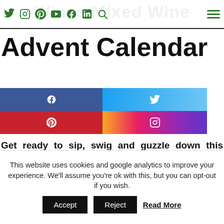Wines Mixed Wine — navigation bar with social icons
Advent Calendar
[Figure (infographic): Social share buttons: Facebook (blue), Twitter (blue gradient), Pinterest (red), Instagram (orange-purple gradient)]
Get ready to sip, swig and guzzle down this year's Virgin Wine's Mixed Advent calendar which, by the way, is the merriest of them yet.
We were kindly sent this to review, all thoughts are our
This website uses cookies and google analytics to improve your experience. We'll assume you're ok with this, but you can opt-out if you wish.